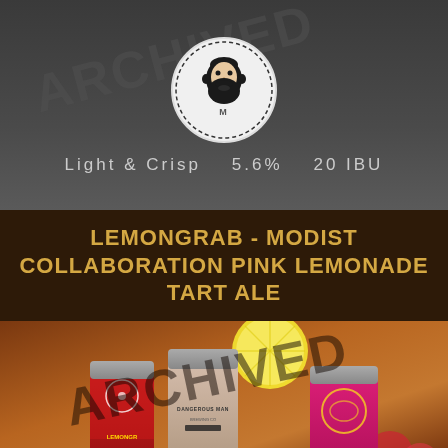[Figure (logo): Brewery logo — circular badge with bearded man face, 'ARCHIVED' watermark overlaid diagonally]
Light & Crisp   5.6%   20 IBU
LEMONGRAB - MODIST COLLABORATION PINK LEMONADE TART ALE
[Figure (photo): Photo of beer cans (Dangerous Man and Lemongrab branded cans) with lemon slice and strawberries, 'ARCHIVED' watermark overlaid diagonally]